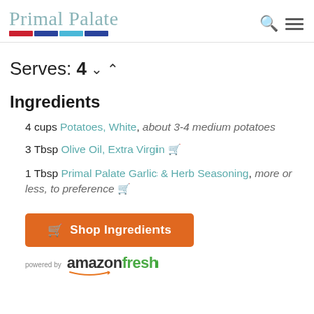Primal Palate
Serves: 4
Ingredients
4 cups Potatoes, White, about 3-4 medium potatoes
3 Tbsp Olive Oil, Extra Virgin
1 Tbsp Primal Palate Garlic & Herb Seasoning, more or less, to preference
Shop Ingredients
powered by amazonfresh